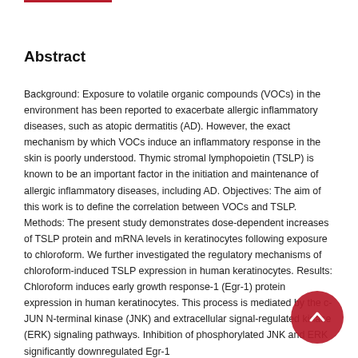Abstract
Background: Exposure to volatile organic compounds (VOCs) in the environment has been reported to exacerbate allergic inflammatory diseases, such as atopic dermatitis (AD). However, the exact mechanism by which VOCs induce an inflammatory response in the skin is poorly understood. Thymic stromal lymphopoietin (TSLP) is known to be an important factor in the initiation and maintenance of allergic inflammatory diseases, including AD. Objectives: The aim of this work is to define the correlation between VOCs and TSLP. Methods: The present study demonstrates dose-dependent increases of TSLP protein and mRNA levels in keratinocytes following exposure to chloroform. We further investigated the regulatory mechanisms of chloroform-induced TSLP expression in human keratinocytes. Results: Chloroform induces early growth response-1 (Egr-1) protein expression in human keratinocytes. This process is mediated by the c-JUN N-terminal kinase (JNK) and extracellular signal-regulated kinase (ERK) signaling pathways. Inhibition of phosphorylated JNK and ERK significantly downregulated Egr-1